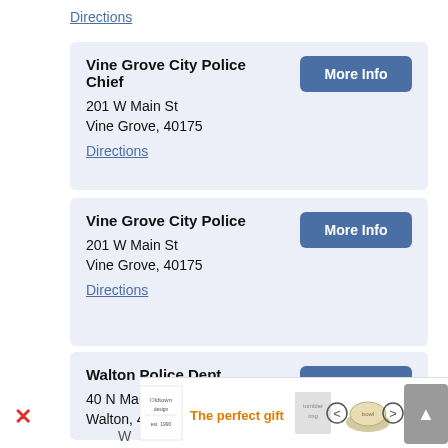Directions
Vine Grove City Police Chief
201 W Main St
Vine Grove, 40175
Directions
Vine Grove City Police
201 W Main St
Vine Grove, 40175
Directions
Walton Police Dept
40 N Main St
Walton, 41094
Directions